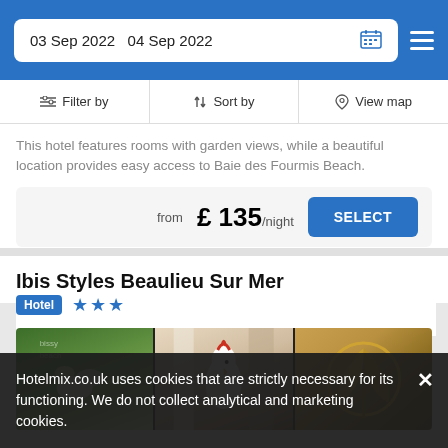03 Sep 2022  04 Sep 2022
Filter by | Sort by | View map
This hotel features rooms with garden views, while a beautiful location provides easy access to Baie des Fourmis Beach.
from £ 135/night  SELECT
Ibis Styles Beaulieu Sur Mer
Hotel ★★★
[Figure (photo): Three-panel hotel photo strip showing: tropical foliage/garden, hotel interior with decorative bird, and ornamental gold palm leaf wall decoration]
Hotelmix.co.uk uses cookies that are strictly necessary for its functioning. We do not collect analytical and marketing cookies.